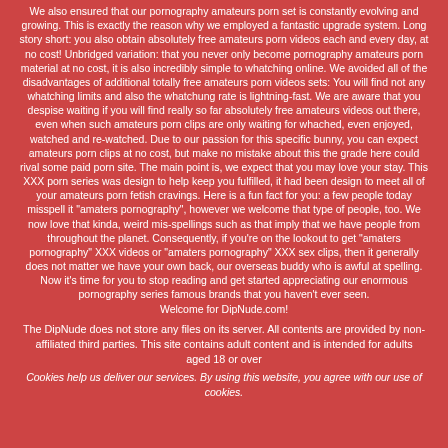We also ensured that our pornography amateurs porn set is constantly evolving and growing. This is exactly the reason why we employed a fantastic upgrade system. Long story short: you also obtain absolutely free amateurs porn videos each and every day, at no cost! Unbridged variation: that you never only become pornography amateurs porn material at no cost, it is also incredibly simple to whatching online. We avoided all of the disadvantages of additional totally free amateurs porn videos sets: You will find not any whatching limits and also the whatchung rate is lightning-fast. We are aware that you despise waiting if you will find really so far absolutely free amateurs videos out there, even when such amateurs porn clips are only waiting for whached, even enjoyed, watched and re-watched. Due to our passion for this specific bunny, you can expect amateurs porn clips at no cost, but make no mistake about this the grade here could rival some paid porn site. The main point is, we expect that you may love your stay. This XXX porn series was design to help keep you fulfilled, it had been design to meet all of your amateurs porn fetish cravings. Here is a fun fact for you: a few people today misspell it "amaters pornography", however we welcome that type of people, too. We now love that kinda, weird mis-spellings such as that imply that we have people from throughout the planet. Consequently, if you're on the lookout to get "amaters pornography" XXX videos or "amaters pornography" XXX sex clips, then it generally does not matter we have your own back, our overseas buddy who is awful at spelling. Now it's time for you to stop reading and get started appreciating our enormous pornography series famous brands that you haven't ever seen. Welcome for DipNude.com!
The DipNude does not store any files on its server. All contents are provided by non-affiliated third parties. This site contains adult content and is intended for adults aged 18 or over
Cookies help us deliver our services. By using this website, you agree with our use of cookies.